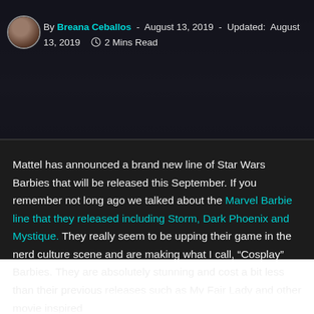By Breana Ceballos - August 13, 2019 - Updated: August 13, 2019   2 Mins Read
Mattel has announced a brand new line of Star Wars Barbies that will be released this September. If you remember not long ago we talked about the Marvel Barbie line that they released including Storm, Dark Phoenix and Mystique. They really seem to be upping their game in the nerd culture scene and are making what I call, “Cosplay” Barbies. They are absolutely stunning and cost a bit less than their previous releases such as My Fair Lady and other movie inspired